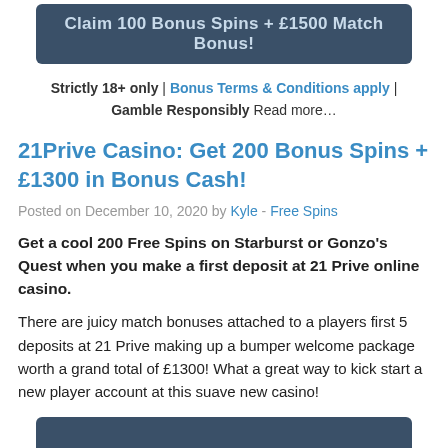[Figure (other): Dark blue/teal banner button with text: Claim 100 Bonus Spins + £1500 Match Bonus!]
Strictly 18+ only | Bonus Terms & Conditions apply | Gamble Responsibly Read more…
21Prive Casino: Get 200 Bonus Spins + £1300 in Bonus Cash!
Posted on December 10, 2020 by Kyle - Free Spins
Get a cool 200 Free Spins on Starburst or Gonzo's Quest when you make a first deposit at 21 Prive online casino.
There are juicy match bonuses attached to a players first 5 deposits at 21 Prive making up a bumper welcome package worth a grand total of £1300! What a great way to kick start a new player account at this suave new casino!
[Figure (other): Dark blue/teal banner button partially visible at bottom of page]